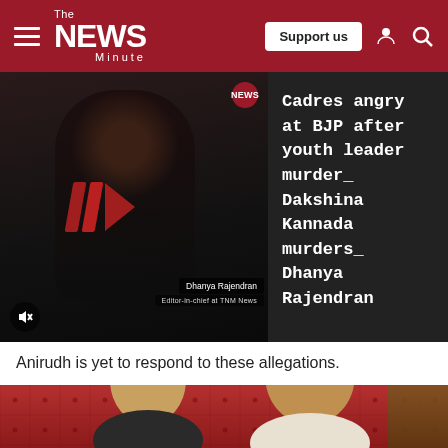The NEWS Minute — Support us
[Figure (screenshot): Video thumbnail showing a woman with TNM reporter tag 'Dhanya Rajendran', with play button overlay and news badge, dark background]
Cadres angry at BJP after youth leader murder_ Dakshina Kannada murders_ Dhanya Rajendran
Anirudh is yet to respond to these allegations.
[Figure (photo): Photo of two men standing together in front of a red tufted wall background — a younger man on the left and an older man on the right]